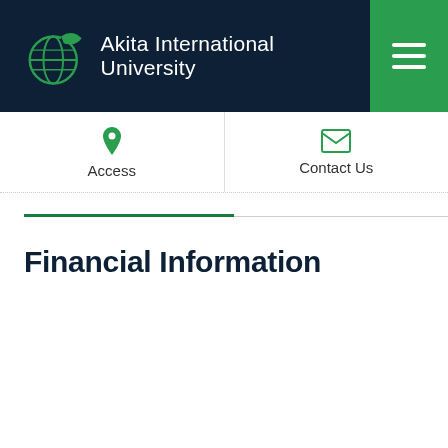Akita International University
Access
Contact Us
Financial Information